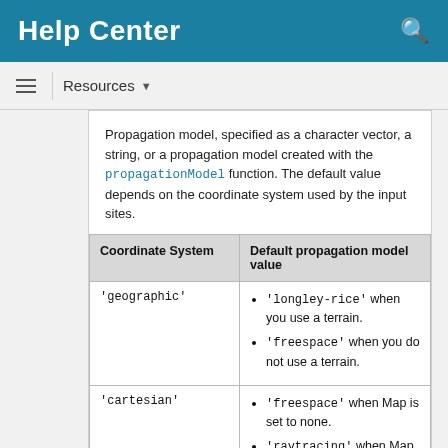Help Center
Resources ▼
Propagation model, specified as a character vector, a string, or a propagation model created with the propagationModel function. The default value depends on the coordinate system used by the input sites.
| Coordinate System | Default propagation model value |
| --- | --- |
| 'geographic' | 'longley-rice' when you use a terrain.
'freespace' when you do not use a terrain. |
| 'cartesian' | 'freespace' when Map is set to none.
'raytracing' when Map is set to the name of an STL file or a ... |